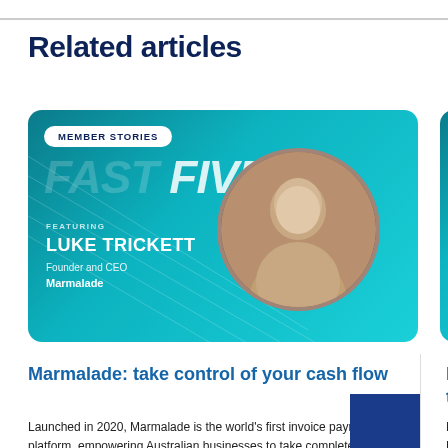Related articles
[Figure (photo): Member Stories Fast Five card featuring Luke Trickett, Founder and CEO of Marmalade, with a circular portrait photo on a teal gradient background]
[Figure (photo): Partial Member Stories Fast Five card featuring Fulvio Fa... (name cut off), General Manager Dealer Network, Mitsubishi Mo... on teal gradient background]
Marmalade: take control of your cash flow
Launched in 2020, Marmalade is the world's first invoice payments platform, empowering Australian businesses to take complete control of their cash flow.
Mitsubish... their amb...
Mitsubishi... B de... in 95 coun...